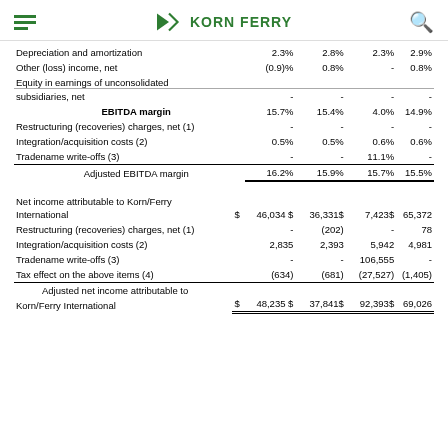KORN FERRY
|  | $ | Col1 | Col2 | Col3 | Col4 |
| --- | --- | --- | --- | --- | --- |
| Depreciation and amortization |  | 2.3% | 2.8% | 2.3% | 2.9% |
| Other (loss) income, net |  | (0.9)% | 0.8% | - | 0.8% |
| Equity in earnings of unconsolidated subsidiaries, net |  | - | - | - | - |
| EBITDA margin |  | 15.7% | 15.4% | 4.0% | 14.9% |
| Restructuring (recoveries) charges, net (1) |  | - | - | - | - |
| Integration/acquisition costs (2) |  | 0.5% | 0.5% | 0.6% | 0.6% |
| Tradename write-offs (3) |  | - | - | 11.1% | - |
| Adjusted EBITDA margin |  | 16.2% | 15.9% | 15.7% | 15.5% |
| Net income attributable to Korn/Ferry International | $ | 46,034 | 36,331 | 7,423 | 65,372 |
| Restructuring (recoveries) charges, net (1) |  | - | (202) | - | 78 |
| Integration/acquisition costs (2) |  | 2,835 | 2,393 | 5,942 | 4,981 |
| Tradename write-offs (3) |  | - | - | 106,555 | - |
| Tax effect on the above items (4) |  | (634) | (681) | (27,527) | (1,405) |
| Adjusted net income attributable to Korn/Ferry International | $ | 48,235 | 37,841 | 92,393 | 69,026 |